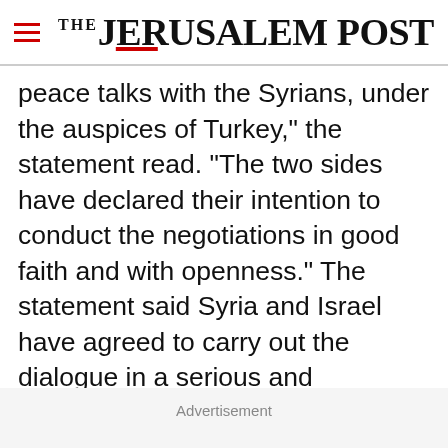THE JERUSALEM POST
peace talks with the Syrians, under the auspices of Turkey," the statement read. "The two sides have declared their intention to conduct the negotiations in good faith and with openness." The statement said Syria and Israel have agreed to carry out the dialogue in a serious and continuous manner with the aim of reaching a comprehensive peace within the framework set up at the Madrid Conference. According to the statement, the two sides thanked Turkey and its
Advertisement